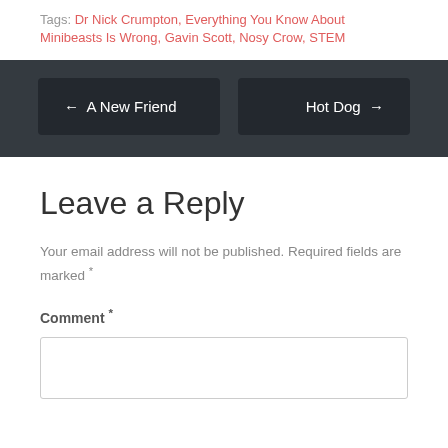Tags: Dr Nick Crumpton, Everything You Know About Minibeasts Is Wrong, Gavin Scott, Nosy Crow, STEM
← A New Friend
Hot Dog →
Leave a Reply
Your email address will not be published. Required fields are marked *
Comment *